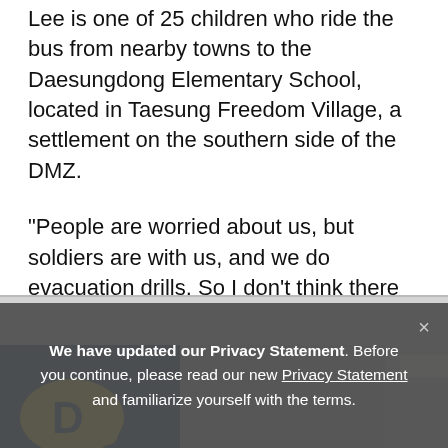Lee is one of 25 children who ride the bus from nearby towns to the Daesungdong Elementary School, located in Taesung Freedom Village, a settlement on the southern side of the DMZ.
"People are worried about us, but soldiers are with us, and we do evacuation drills. So I don't think there is anything to be scared or worried about," the fourth grader told Reuters.
[Figure (photo): Partial interior photo showing a yellow graphic/logo on a blue background, ceiling, and a fluorescent light strip on the right side — appears to be inside a bus or school building.]
We have updated our Privacy Statement. Before you continue, please read our new Privacy Statement and familiarize yourself with the terms.